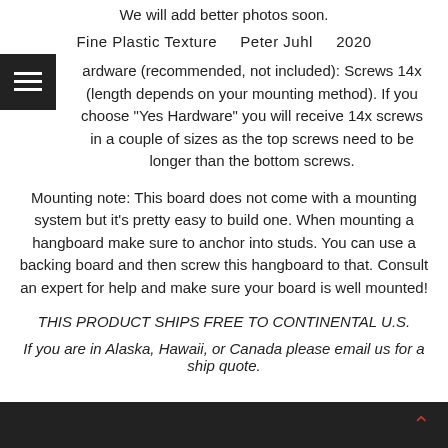We will add better photos soon.
Fine Plastic Texture    Peter Juhl    2020
Hardware (recommended, not included): Screws 14x (length depends on your mounting method). If you choose "Yes Hardware" you will receive 14x screws in a couple of sizes as the top screws need to be longer than the bottom screws.
Mounting note: This board does not come with a mounting system but it's pretty easy to build one. When mounting a hangboard make sure to anchor into studs. You can use a backing board and then screw this hangboard to that. Consult an expert for help and make sure your board is well mounted!
THIS PRODUCT SHIPS FREE TO CONTINENTAL U.S.
If you are in Alaska, Hawaii, or Canada please email us for a ship quote.